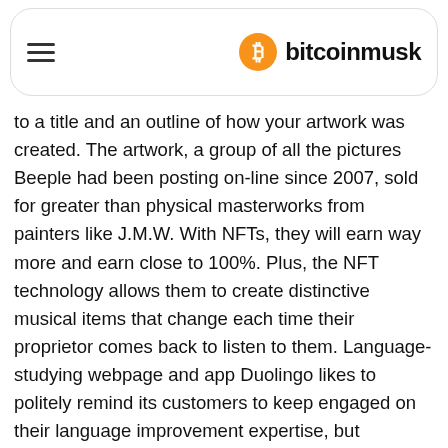bitcoinmusk
to a title and an outline of how your artwork was created. The artwork, a group of all the pictures Beeple had been posting on-line since 2007, sold for greater than physical masterworks from painters like J.M.W. With NFTs, they will earn way more and earn close to 100%. Plus, the NFT technology allows them to create distinctive musical items that change each time their proprietor comes back to listen to them. Language-studying webpage and app Duolingo likes to politely remind its customers to keep engaged on their language improvement expertise, but generally it could actually get a little insistent. Plus, as soon as an individual will get the card they have been in search of, they know no person else has it, and they'll determine to keep it or promote it. Artists have begun to reevaluate what art may be, in addition to how it may be offered and purchased in the modern period. There's also no need for a renewal